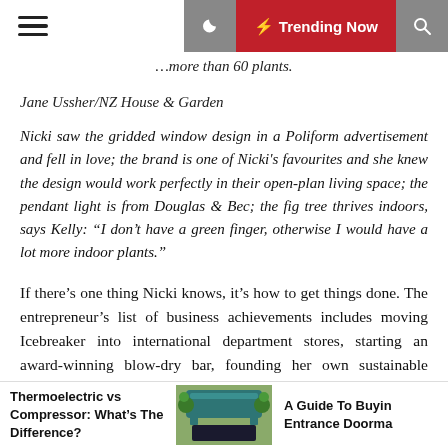Trending Now
…more than 60 plants.
Jane Ussher/NZ House & Garden
Nicki saw the gridded window design in a Poliform advertisement and fell in love; the brand is one of Nicki's favourites and she knew the design would work perfectly in their open-plan living space; the pendant light is from Douglas & Bec; the fig tree thrives indoors, says Kelly: “I don’t have a green finger, otherwise I would have a lot more indoor plants.”
If there’s one thing Nicki knows, it’s how to get things done. The entrepreneur’s list of business achievements includes moving Icebreaker into international department stores, starting an award-winning blow-dry bar, founding her own sustainable haircare company, Beauty Dust Co, with John, and co-owning Papinelle Sleepwear – all while raising three children: Lily, 16,
Thermoelectric vs Compressor: What’s The Difference?
[Figure (photo): Small thumbnail image of an entrance doormat]
A Guide To Buying Entrance Doorma